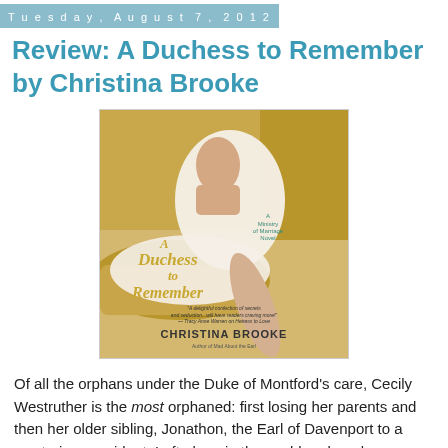Tuesday, August 7, 2012
Review: A Duchess to Remember by Christina Brooke
[Figure (photo): Book cover of 'A Duchess to Remember' by Christina Brooke. Features a woman in a white Regency-era dress reclining on a golden chaise. The cover reads 'A Ministry of Marriage Novel' and includes a blurb: 'A delightful confection of secrets and seduction...will have readers craving more! — Tracy Anne Warren on Heiress to Love'. Author name Christina Brooke at the bottom.]
Of all the orphans under the Duke of Montford's care, Cecily Westruther is the most orphaned: first losing her parents and then her older sibling, Jonathon, the Earl of Davenport to a mysterious accident. Left alone in the world and made